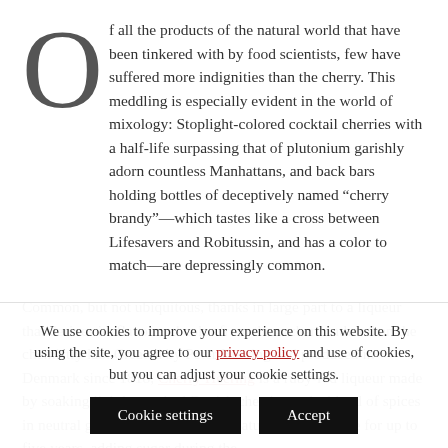Of all the products of the natural world that have been tinkered with by food scientists, few have suffered more indignities than the cherry. This meddling is especially evident in the world of mixology: Stoplight-colored cocktail cherries with a half-life surpassing that of plutonium garishly adorn countless Manhattans, and back bars holding bottles of deceptively named “cherry brandy”—which tastes like a cross between Lifesavers and Robitussin, and has a color to match—are depressingly common.
Common, but not ubiquitous, thanks in large part to a liqueur that derives its flavor and color from the orchard rather than the chemistry lab. Created by Peter Heering and produced in Denmark since 1818, Cherry Heering is a ruby-red liqueur made by soaking lightly crushed Danish cherries and a blend of spices in neutral grain spirits, then cask-maturing the mixture for up to five years, adding sugar during the
We use cookies to improve your experience on this website. By using the site, you agree to our privacy policy and use of cookies, but you can adjust your cookie settings.